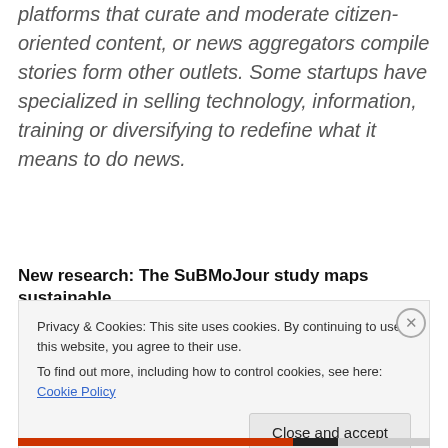platforms that curate and moderate citizen-oriented content, or news aggregators compile stories form other outlets. Some startups have specialized in selling technology, information, training or diversifying to redefine what it means to do news.
New research: The SuBMoJour study maps sustainable
Privacy & Cookies: This site uses cookies. By continuing to use this website, you agree to their use.
To find out more, including how to control cookies, see here: Cookie Policy